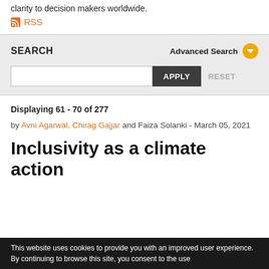clarity to decision makers worldwide.
RSS
SEARCH
Advanced Search
APPLY   RESET
Displaying 61 - 70 of 277
by Avni Agarwal, Chirag Gajjar and Faiza Solanki - March 05, 2021
Inclusivity as a climate action
This website uses cookies to provide you with an improved user experience. By continuing to browse this site, you consent to the use